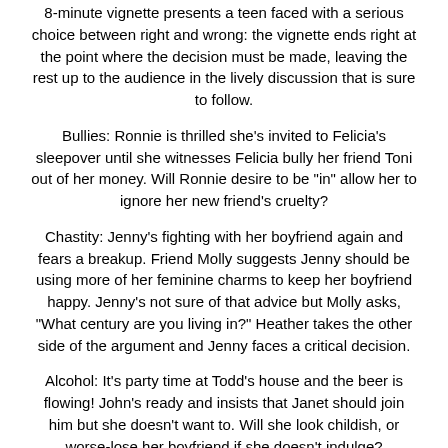8-minute vignette presents a teen faced with a serious choice between right and wrong: the vignette ends right at the point where the decision must be made, leaving the rest up to the audience in the lively discussion that is sure to follow.
Bullies: Ronnie is thrilled she's invited to Felicia's sleepover until she witnesses Felicia bully her friend Toni out of her money. Will Ronnie desire to be "in" allow her to ignore her new friend's cruelty?
Chastity: Jenny's fighting with her boyfriend again and fears a breakup. Friend Molly suggests Jenny should be using more of her feminine charms to keep her boyfriend happy. Jenny's not sure of that advice but Molly asks, "What century are you living in?" Heather takes the other side of the argument and Jenny faces a critical decision.
Alcohol: It's party time at Todd's house and the beer is flowing! John's ready and insists that Janet should join him but she doesn't want to. Will she look childish, or worse-lose her boyfriend if she doesn't indulge?
Racism: Carla and Mack think it's unfair that some classes are taught in Spanish as well as English to help students for whom English is a second language. Carla says, "Let them learn English before they come here," but that'll be a difficult